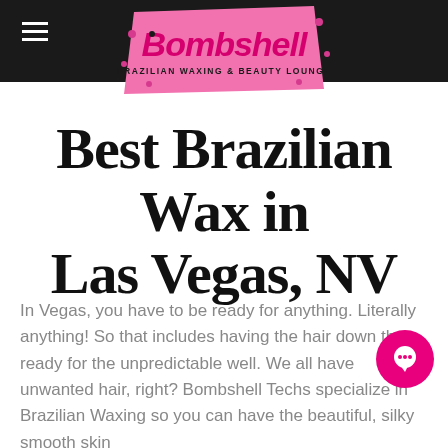Bombshell Brazilian Waxing & Beauty Lounge
Best Brazilian Wax in Las Vegas, NV
In Vegas, you have to be ready for anything. Literally anything! So that includes having the hair down there ready for the unpredictable well. We all have unwanted hair, right? Bombshell Techs specialize in Brazilian Waxing so you can have the beautiful, silky smooth skin